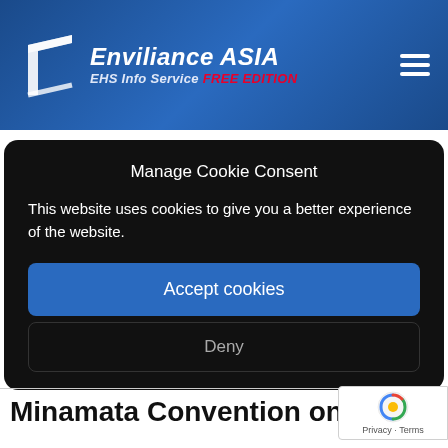[Figure (logo): Enviliance ASIA EHS Info Service FREE EDITION logo with icon on blue gradient header background and hamburger menu icon]
Manage Cookie Consent
This website uses cookies to give you a better experience of the website.
Accept cookies
Deny
Minamata Convention on Mercury